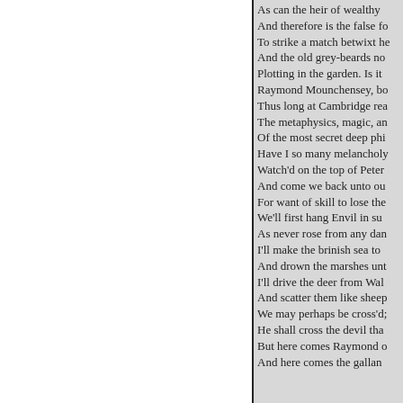As can the heir of wealthy / And therefore is the false fo / To strike a match betwixt he / And the old grey-beards no / Plotting in the garden. Is it / Raymond Mounchensey, bo / Thus long at Cambridge rea / The metaphysics, magic, an / Of the most secret deep phi / Have I so many melancholy / Watch'd on the top of Peter / And come we back unto ou / For want of skill to lose the / We'll first hang Envil in su / As never rose from any dan / I'll make the brinish sea to / And drown the marshes unt / I'll drive the deer from Wal / And scatter them like sheep / We may perhaps be cross'd; / He shall cross the devil tha / But here comes Raymond o / And here comes the gallan